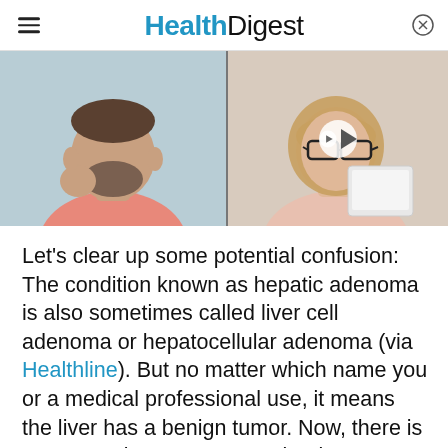Health Digest
[Figure (photo): Split image: left side shows a bearded man in a pink shirt touching his chin, right side shows a woman with glasses reading a tablet with a video play button overlay]
Let's clear up some potential confusion: The condition known as hepatic adenoma is also sometimes called liver cell adenoma or hepatocellular adenoma (via Healthline). But no matter which name you or a medical professional use, it means the liver has a benign tumor. Now, there is some good news. For one, benign tumors are not cancerous. Plus, hepatic adenoma isn't a